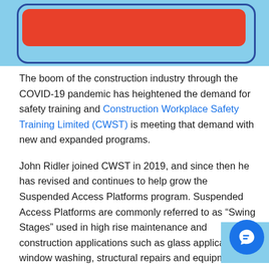[Figure (illustration): Top banner with light blue background and rounded rectangle border in dark blue, containing a red rounded rectangle bar inside]
The boom of the construction industry through the COVID-19 pandemic has heightened the demand for safety training and Construction Workplace Safety Training Limited (CWST) is meeting that demand with new and expanded programs.
John Ridler joined CWST in 2019, and since then he has revised and continues to help grow the Suspended Access Platforms program. Suspended Access Platforms are commonly referred to as “Swing Stages” used in high rise maintenance and construction applications such as glass application, window washing, structural repairs and equipment installations.